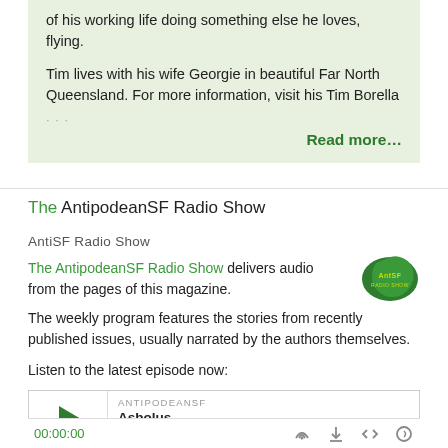of his working life doing something else he loves, flying.

Tim lives with his wife Georgie in beautiful Far North Queensland. For more information, visit his Tim Borella
Read more…
The AntipodeanSF Radio Show
AntiSF Radio Show
The AntipodeanSF Radio Show delivers audio from the pages of this magazine.

The weekly program features the stories from recently published issues, usually narrated by the authors themselves.

Listen to the latest episode now:
[Figure (logo): AntSF Radio Show logo - green Australia shape with yellow text]
[Figure (screenshot): Audio player widget showing ANTIPODEANSF label, Asbolus track title, play button, progress bar, time 00:00:00 and player controls]